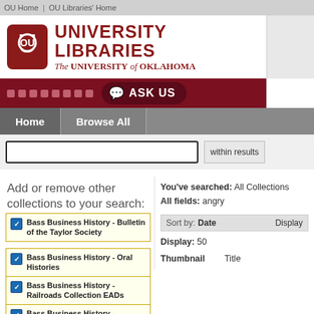OU Home | OU Libraries' Home
[Figure (logo): University of Oklahoma University Libraries logo with crimson OU logo icon and text]
ASK US
Home | Browse All
within results
Add or remove other collections to your search:
Bass Business History - Bulletin of the Taylor Society
Bass Business History - Oral Histories
Bass Business History - Railroads Collection EADs
Bass Business History - Robert Kahn's Retailing Today
Bass Business History - Western
You've searched: All Collections
All fields: angry
Sort by: Date    Display
Display: 50
Thumbnail    Title